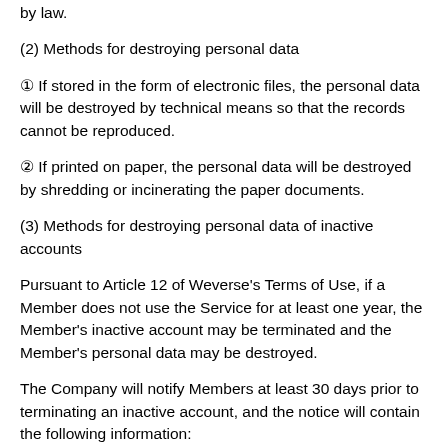by law.
(2) Methods for destroying personal data
① If stored in the form of electronic files, the personal data will be destroyed by technical means so that the records cannot be reproduced.
② If printed on paper, the personal data will be destroyed by shredding or incinerating the paper documents.
(3) Methods for destroying personal data of inactive accounts
Pursuant to Article 12 of Weverse's Terms of Use, if a Member does not use the Service for at least one year, the Member's inactive account may be terminated and the Member's personal data may be destroyed.
The Company will notify Members at least 30 days prior to terminating an inactive account, and the notice will contain the following information:
- The fact that the Member's personal data will be destroyed